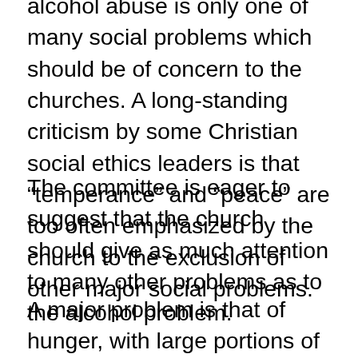alcohol abuse is only one of many social problems which should be of concern to the churches. A long-standing criticism by some Christian social ethics leaders is that “temperance” and “peace” are too often emphasized by the church to the exclusion of other major social problems.
The committee is eager to suggest that the church should give as much attention to many other problems as to the alcohol problem.
A major problem is that of hunger, with large portions of the world’s population never being adequately fed. This problem is even compounded by the use of much grain—an estimated 52.9 million bushels of corn, 84.1 million bushels of barley, 11.9